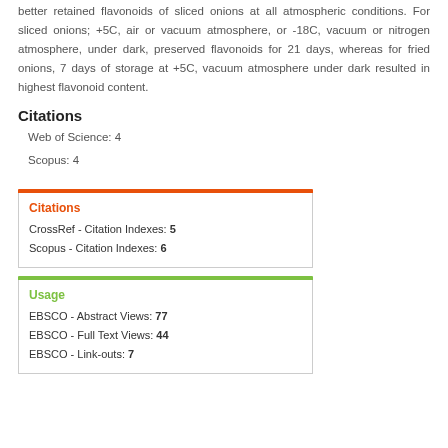better retained flavonoids of sliced onions at all atmospheric conditions. For sliced onions; +5C, air or vacuum atmosphere, or -18C, vacuum or nitrogen atmosphere, under dark, preserved flavonoids for 21 days, whereas for fried onions, 7 days of storage at +5C, vacuum atmosphere under dark resulted in highest flavonoid content.
Citations
Web of Science: 4
Scopus: 4
Citations
CrossRef - Citation Indexes: 5
Scopus - Citation Indexes: 6
Usage
EBSCO - Abstract Views: 77
EBSCO - Full Text Views: 44
EBSCO - Link-outs: 7